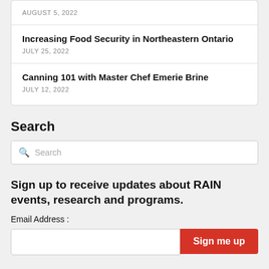Increasing Food Security in Northeastern Ontario
JULY 25, 2022
Canning 101 with Master Chef Emerie Brine
JULY 12, 2022
Search
Search
Sign up to receive updates about RAIN events, research and programs.
Email Address :
Sign me up